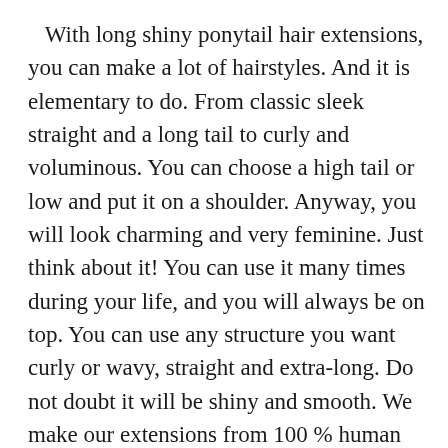With long shiny ponytail hair extensions, you can make a lot of hairstyles. And it is elementary to do. From classic sleek straight and a long tail to curly and voluminous. You can choose a high tail or low and put it on a shoulder. Anyway, you will look charming and very feminine. Just think about it! You can use it many times during your life, and you will always be on top. You can use any structure you want curly or wavy, straight and extra-long. Do not doubt it will be shiny and smooth. We make our extensions from 100 % human russian hair that is why the hair is so soft and silky. Besides, you can do any styling you want. Curl it or straighten easy! Russian hair is so obedient and stays attractive for a long period. For front picture girl we used color